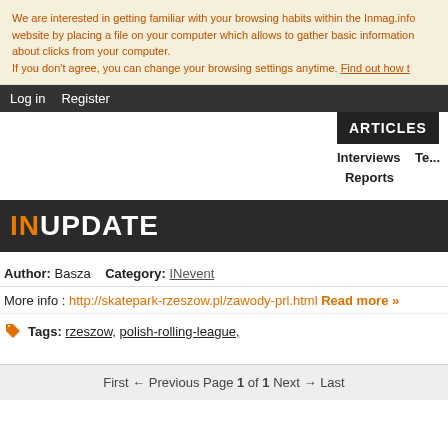We are interested in getting familiar with your browsing habits within the Inmag.info website by placing a file on your computer which allows to gather basic information about clicks from your computer. If you don't agree, you can change your browsing settings anytime. Find out how to
Log in   Register
ARTICLES  Interviews  Te...  Reports
INUPDATE
Author: Basza   Category: INevents
More info : http://skatepark-rzeszow.pl/zawody-prl.html Read more »
Tags: rzeszow, polish-rolling-league,
First  ← Previous  Page 1 of 1  Next →  Last